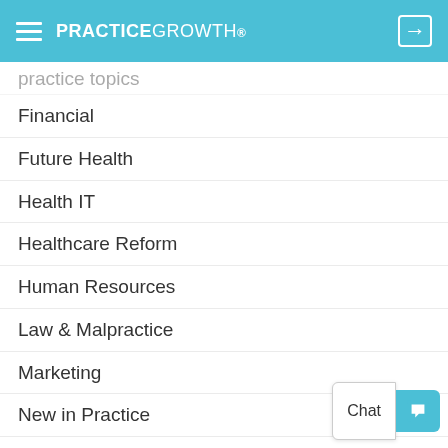PRACTICEGROWTH
Financial
Future Health
Health IT
Healthcare Reform
Human Resources
Law & Malpractice
Marketing
New in Practice
Personal Finance/Wealth
Practice Management
Practice Models
Patient Engagement